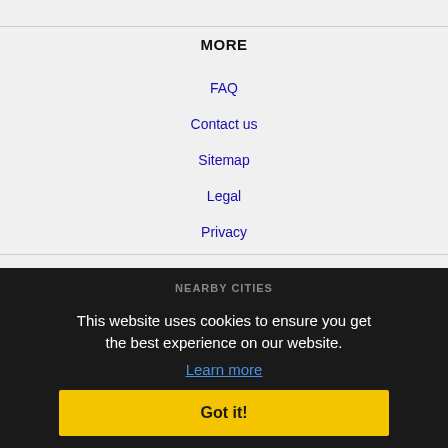MORE
FAQ
Contact us
Sitemap
Legal
Privacy
NEARBY CITIES
Albany, OR Jobs
Aloha, OR Jobs
Beaver Creek, OR Jobs
Corvallis, OR Jobs
Eugene, OR Jobs
Gresham, OR Jobs
Hillsboro, OR Jobs
This website uses cookies to ensure you get the best experience on our website. Learn more Got it!